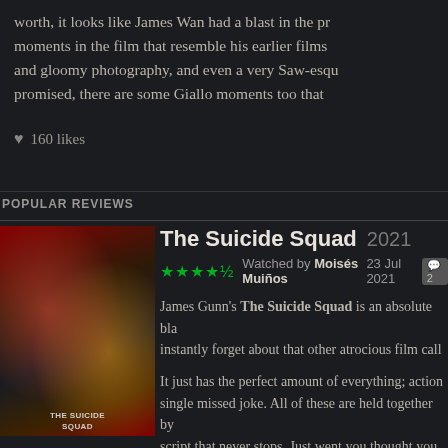worth, it looks like James Wan had a blast in the pr moments in the film that resemble his earlier films and gloomy photography, and even a very Saw-esqu promised, there are some Giallo moments too that
♥ 160 likes
POPULAR REVIEWS
[Figure (photo): Movie poster for The Suicide Squad (2021)]
The Suicide Squad 2021
★★★★½  Watched by Moisés Muiños  23 Jul 2021  💬2
James Gunn's The Suicide Squad is an absolute bla instantly forget about that other atrocious film call
It just has the perfect amount of everything; action single missed joke. All of these are held together by script that never stops. Just went you thought you BOOM! It even does work on emotional levels by th